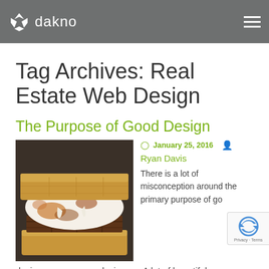dakno
Tag Archives: Real Estate Web Design
The Purpose of Good Design
[Figure (photo): Close-up photo of a s'more (toasted marshmallow and chocolate between graham crackers)]
January 25, 2016  Ryan Davis  There is a lot of misconception around the primary purpose of good design, even among designers. A lot of beautiful we... end up as broken as the crushed ingredients of the s'more